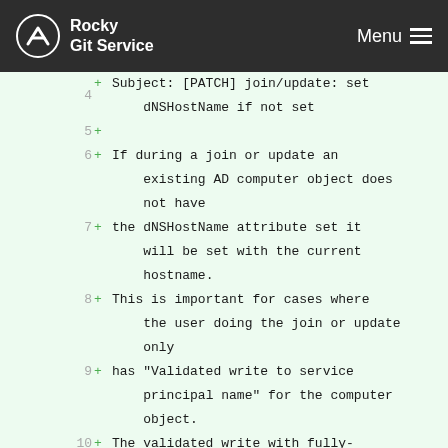Rocky Git Service  Menu
4  + Subject: [PATCH] join/update: set dNSHostName if not set
5  +
6  + If during a join or update an existing AD computer object does not have
7  + the dNSHostName attribute set it will be set with the current hostname.
8  + This is important for cases where the user doing the join or update only
9  + has "Validated write to service principal name" for the computer object.
10 + The validated write with fully-qualified names can only be successful if
11 + dNSHostName is set, see [MS-ADTS] section 3.1.1.5.3.1.1.4 "Validated